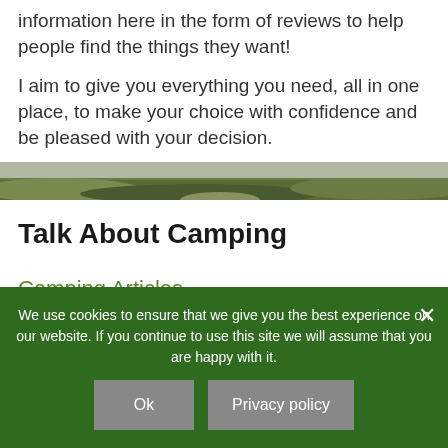information here in the form of reviews to help people find the things they want!
I aim to give you everything you need, all in one place, to make your choice with confidence and be pleased with your decision.
[Figure (photo): Landscape photo of outdoor terrain with grass and earth tones]
Talk About Camping
Camping Articles
Accessories
We use cookies to ensure that we give you the best experience on our website. If you continue to use this site we will assume that you are happy with it.